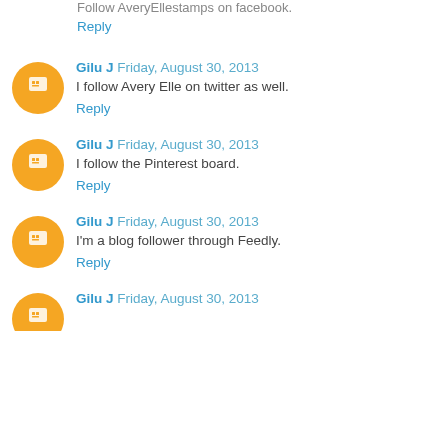Follow AveryEllestamps on facebook.
Reply
Gilu J Friday, August 30, 2013
I follow Avery Elle on twitter as well.
Reply
Gilu J Friday, August 30, 2013
I follow the Pinterest board.
Reply
Gilu J Friday, August 30, 2013
I'm a blog follower through Feedly.
Reply
Gilu J Friday, August 30, 2013